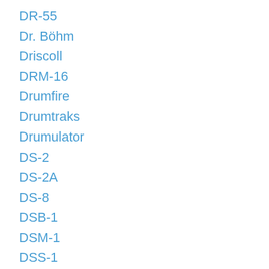DR-55
Dr. Böhm
Driscoll
DRM-16
Drumfire
Drumtraks
Drumulator
DS-2
DS-2A
DS-8
DSB-1
DSM-1
DSS-1